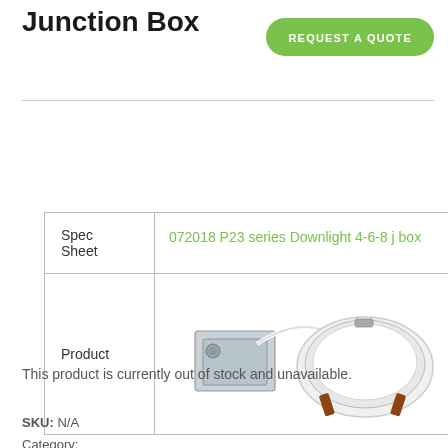Junction Box
REQUEST A QUOTE
|  |  |
| --- | --- |
| Spec Sheet | 072018 P23 series Downlight 4-6-8 j box |
| Product | [product image] |
This product is currently out of stock and unavailable.
SKU: N/A
Category: